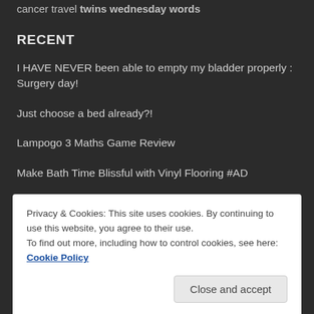cancer travel twins wednesday words
RECENT
I HAVE NEVER been able to empty my bladder properly : Surgery day!
Just choose a bed already?!
Lampogo 3 Maths Game Review
Make Bath Time Blissful with Vinyl Flooring #AD
Privacy & Cookies: This site uses cookies. By continuing to use this website, you agree to their use.
To find out more, including how to control cookies, see here: Cookie Policy
Close and accept